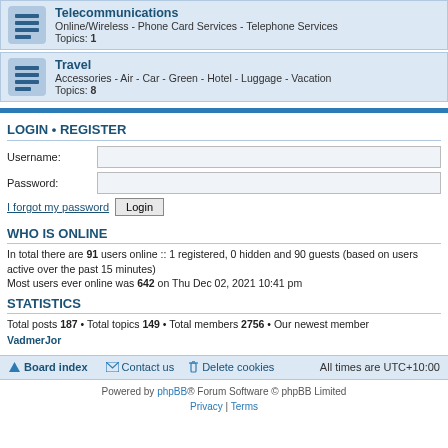Telecommunications - Online/Wireless - Phone Card Services - Telephone Services - Topics: 1
Travel - Accessories - Air - Car - Green - Hotel - Luggage - Vacation - Topics: 8
LOGIN • REGISTER
Username:
Password:
I forgot my password
WHO IS ONLINE
In total there are 91 users online :: 1 registered, 0 hidden and 90 guests (based on users active over the past 15 minutes)
Most users ever online was 642 on Thu Dec 02, 2021 10:41 pm
STATISTICS
Total posts 187 • Total topics 149 • Total members 2756 • Our newest member VadmerJor
Board index  Contact us  Delete cookies  All times are UTC+10:00
Powered by phpBB® Forum Software © phpBB Limited | Privacy | Terms